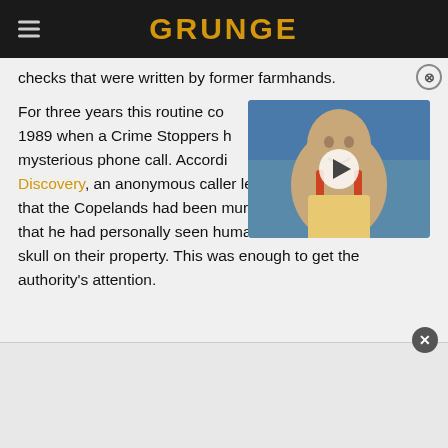GRUNGE
checks that were written by former farmhands.
For three years this routine continued until 1989 when a Crime Stoppers hotline received a mysterious phone call. According to Discovery, an anonymous caller left a message claiming that the Copelands had been murdering farmworkers and that he had personally seen human bones and a human skull on their property. This was enough to get the authority's attention.
[Figure (screenshot): Video thumbnail showing a bald man with suspenders, with a play button overlay]